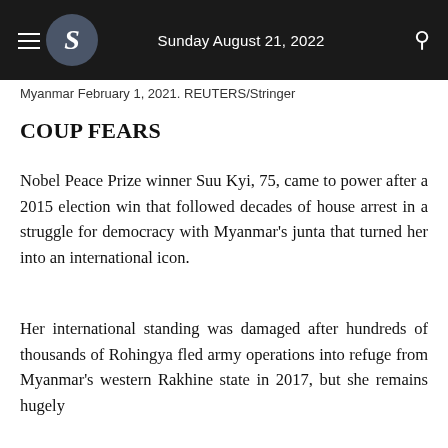Sunday August 21, 2022
Myanmar February 1, 2021. REUTERS/Stringer
COUP FEARS
Nobel Peace Prize winner Suu Kyi, 75, came to power after a 2015 election win that followed decades of house arrest in a struggle for democracy with Myanmar's junta that turned her into an international icon.
Her international standing was damaged after hundreds of thousands of Rohingya fled army operations into refuge from Myanmar's western Rakhine state in 2017, but she remains hugely